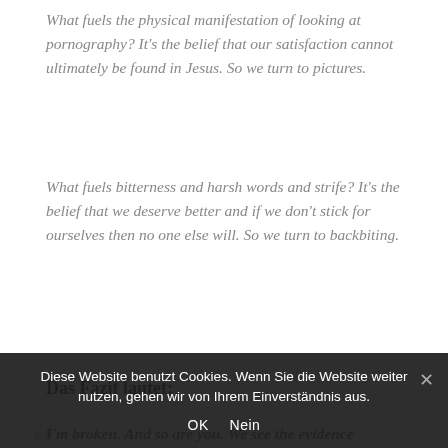What fuels the physical manifestation of looking at pornography? It's the belief that our satisfaction cannot ultimately be found in Jesus. So we turn to pictures.
What fuels bitterness and harsh words and strife? It's the belief that we deserve better and if we don't stick for ourselves then no one else will. So we turn to backbiting.
Das Fazit lautet:
I'm broken. And so are you. We see the evidence...
Diese Website benutzt Cookies. Wenn Sie die Website weiter nutzen, gehen wir von Ihrem Einverständnis aus.